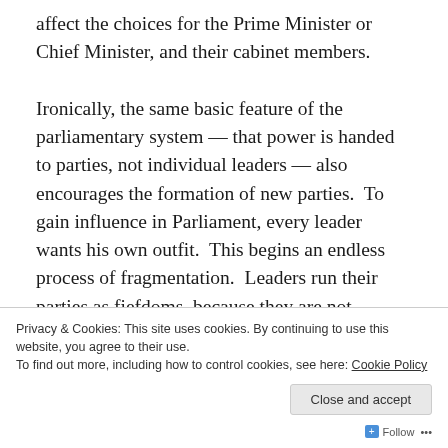affect the choices for the Prime Minister or Chief Minister, and their cabinet members.

Ironically, the same basic feature of the parliamentary system — that power is handed to parties, not individual leaders — also encourages the formation of new parties.  To gain influence in Parliament, every leader wants his own outfit.  This begins an endless process of fragmentation.  Leaders run their parties as fiefdoms, because they are not regulated, and pick their party candidates at will. Those who are not selected by these bosses start their own political parties.
Privacy & Cookies: This site uses cookies. By continuing to use this website, you agree to their use.
To find out more, including how to control cookies, see here: Cookie Policy
Close and accept